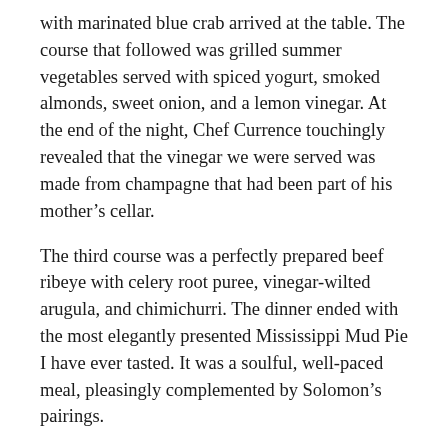with marinated blue crab arrived at the table. The course that followed was grilled summer vegetables served with spiced yogurt, smoked almonds, sweet onion, and a lemon vinegar. At the end of the night, Chef Currence touchingly revealed that the vinegar we were served was made from champagne that had been part of his mother's cellar.
The third course was a perfectly prepared beef ribeye with celery root puree, vinegar-wilted arugula, and chimichurri. The dinner ended with the most elegantly presented Mississippi Mud Pie I have ever tasted. It was a soulful, well-paced meal, pleasingly complemented by Solomon's pairings.
Currence's food philosophy is on vivid display in his 2013 cookbook, Pickles, Pigs & Whiskey: Recipes from My Three Favorite Food Groups (and then some) (Andrews McMeel Publishing). The book is an enjoyable and colorful collection of profanity-laced insights on food and great recipes.